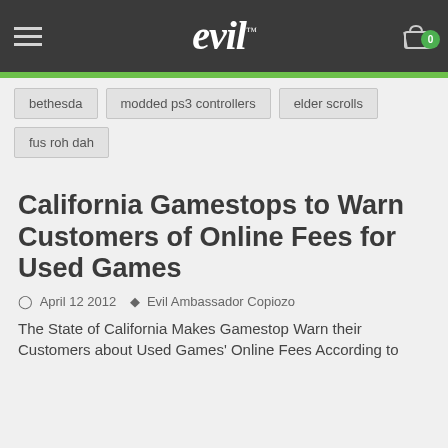evil
bethesda
modded ps3 controllers
elder scrolls
fus roh dah
California Gamestops to Warn Customers of Online Fees for Used Games
April 12 2012   Evil Ambassador Copiozo
The State of California Makes Gamestop Warn their Customers about Used Games' Online Fees According to